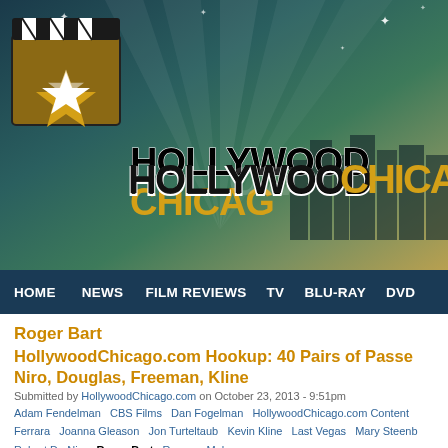[Figure (screenshot): HollywoodChicago.com website header banner with clapperboard logo and teal/gold gradient background with city skyline silhouette]
HOME  NEWS  FILM REVIEWS  TV  BLU-RAY  DVD
Roger Bart
HollywoodChicago.com Hookup: 40 Pairs of Passes... Niro, Douglas, Freeman, Kline
Submitted by HollywoodChicago.com on October 23, 2013 - 9:51pm
Adam Fendelman  CBS Films  Dan Fogelman  HollywoodChicago.com Content  Ferrara  Joanna Gleason  Jon Turteltaub  Kevin Kline  Last Vegas  Mary Steenb...  Robert De Niro  Roger Bart  Romany Malco
CHICAGO – In the latest HollywoodChicago.com Hookup: Film with our un... have 40 pairs of advance-screening movie passes up for grabs to the com... Niro, Michael Douglas, Morgan Freeman and Kevin Kline!